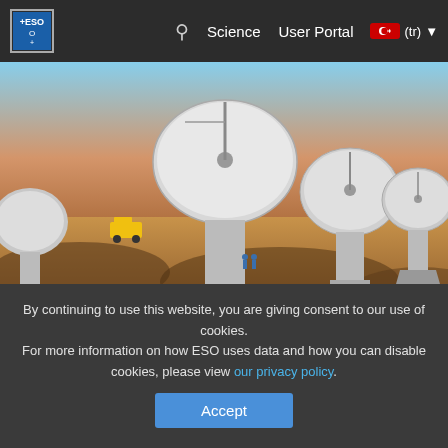ESO | Science | User Portal | (tr)
[Figure (photo): Artistic rendering of the ALMA telescope array showing large radio dish antennas in a desert landscape]
eso9928 — Kurumsal Bülten
The Atacama Large Millimeter Array (ALMA)
10 Haziran 1999: The Atacama Large Millimeter Array (ALMA) is the new name [2] for a giant millimeter-wavelength telescope project. As
By continuing to use this website, you are giving consent to our use of cookies.
For more information on how ESO uses data and how you can disable cookies, please view our privacy policy.
Accept